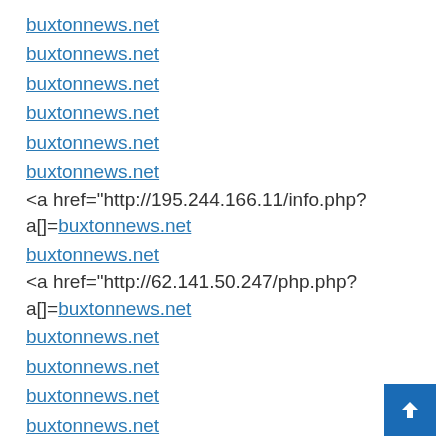buxtonnews.net
buxtonnews.net
buxtonnews.net
buxtonnews.net
buxtonnews.net
buxtonnews.net
<a href="http://195.244.166.11/info.php?a[]=buxtonnews.net
buxtonnews.net
<a href="http://62.141.50.247/php.php?a[]=buxtonnews.net
buxtonnews.net
buxtonnews.net
buxtonnews.net
buxtonnews.net
buxtonnews.net
buxtonnews.net